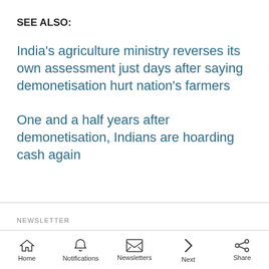SEE ALSO:
India's agriculture ministry reverses its own assessment just days after saying demonetisation hurt nation's farmers
One and a half years after demonetisation, Indians are hoarding cash again
NEWSLETTER
Home | Notifications | Newsletters | Next | Share